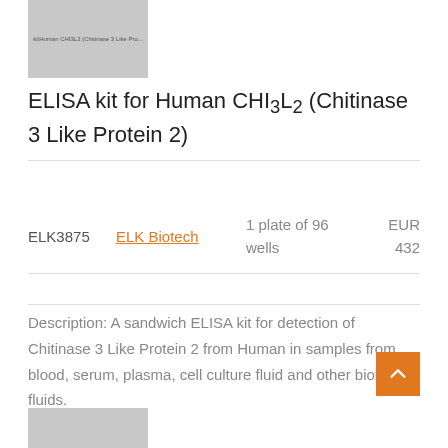[Figure (photo): Product image placeholder for ELISA kit - gray rectangle with text label]
ELISA kit for Human CHl3L2 (Chitinase 3 Like Protein 2)
| ID | Supplier | Quantity | Price |
| --- | --- | --- | --- |
| ELK3875 | ELK Biotech | 1 plate of 96 wells | EUR 432 |
Description: A sandwich ELISA kit for detection of Chitinase 3 Like Protein 2 from Human in samples from blood, serum, plasma, cell culture fluid and other biological fluids.
[Figure (photo): Bottom product image placeholder - gray rectangle]